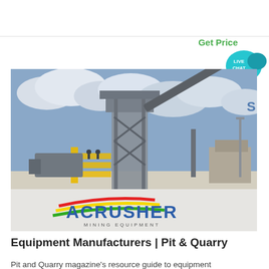[Figure (photo): Industrial quarry/mining equipment facility with a tall steel-framed structure, conveyor belts, yellow scaffolding stairs, and cloudy sky. ACRUSHER Mining Equipment logo overlaid at bottom of image.]
Equipment Manufacturers | Pit & Quarry
Pit and Quarry magazine's resource guide to equipment